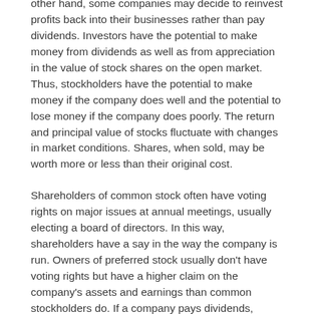other hand, some companies may decide to reinvest profits back into their businesses rather than pay dividends. Investors have the potential to make money from dividends as well as from appreciation in the value of stock shares on the open market. Thus, stockholders have the potential to make money if the company does well and the potential to lose money if the company does poorly. The return and principal value of stocks fluctuate with changes in market conditions. Shares, when sold, may be worth more or less than their original cost.
Shareholders of common stock often have voting rights on major issues at annual meetings, usually electing a board of directors. In this way, shareholders have a say in the way the company is run. Owners of preferred stock usually don't have voting rights but have a higher claim on the company's assets and earnings than common stockholders do. If a company pays dividends, preferred stockholders receive theirs before